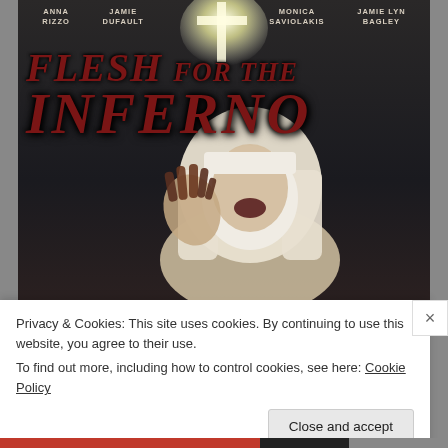[Figure (photo): Movie poster for 'Flesh for the Inferno' showing a horror-themed nun with bloody hands and wide open mouth, set against a dark church background with glowing cross. Cast names at top: Anna Rizzo, Jamie Dufault, Monica Saviolakis, Jamie Lyn Bagley. Title text in dark red serif italic font.]
Privacy & Cookies: This site uses cookies. By continuing to use this website, you agree to their use.
To find out more, including how to control cookies, see here: Cookie Policy
Close and accept